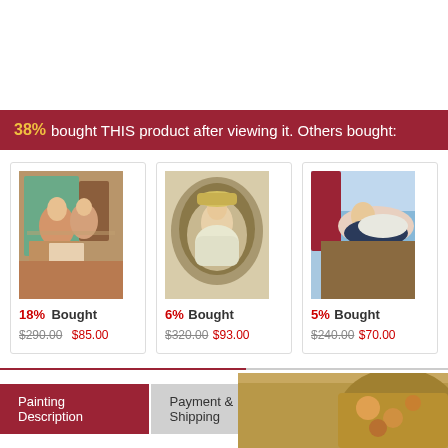38% bought THIS product after viewing it. Others bought:
[Figure (photo): Classical painting of two young women at piano, impressionist style]
18% Bought $290.00 $85.00
[Figure (photo): Oval portrait painting of a young woman in a hat, Victorian style]
6% Bought $320.00 $93.00
[Figure (photo): Classical painting of a reclining woman in elegant dress outdoors]
5% Bought $240.00 $70.00
Painting Description
Payment & Shipping
All you should Know
[Figure (photo): Partial view of a classical painting at bottom right of page]